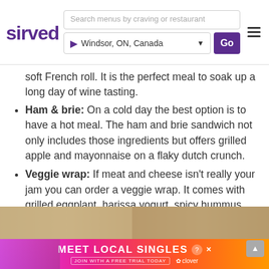sirved | Search menus by craving or restaurant | Windsor, ON, Canada | Go
soft French roll. It is the perfect meal to soak up a long day of wine tasting.
Ham & brie: On a cold day the best option is to have a hot meal. The ham and brie sandwich not only includes those ingredients but offers grilled apple and mayonnaise on a flaky dutch crunch.
Veggie wrap: If meat and cheese isn't really your jam you can order a veggie wrap. It comes with grilled eggplant, harissa yogurt, spicy hummus, red onion, pickle, tomato, and arugula on a spinach lavash. It brings a ton of fresh middle eastern flavors into a vegetarian meal.
[Figure (photo): Bottom area with photo strip and advertisement banner reading MEET LOCAL SINGLES with clover branding]
MEET LOCAL SINGLES — JOIN WITH A FREE TRIAL TODAY — clover